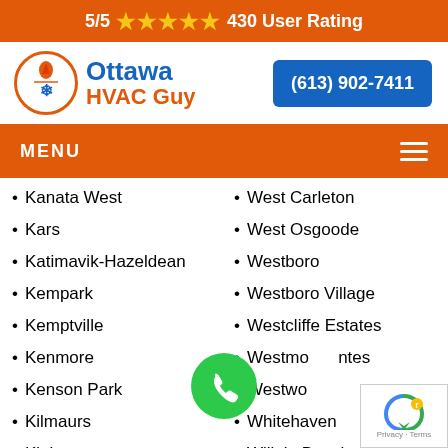5/5 ★★★★★ 430 User Rating
[Figure (logo): Ottawa HVAC Guy logo with orange flame/snowflake icon in circle]
(613) 902-7411
MENU
Kanata West
Kars
Katimavik-Hazeldean
Kempark
Kemptville
Kenmore
Kenson Park
Kilmaurs
Kinburn
Knollsbrook
Lakeside
West Carleton
West Osgoode
Westboro
Westboro Village
Westcliffe Estates
Westmore tes
Westwoo...
Whitehaven
Willola Beach
Winchester
Windsor Park Village